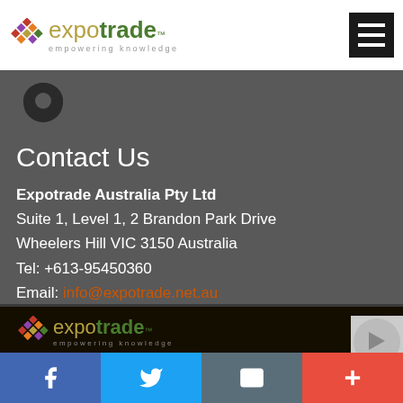[Figure (logo): Expotrade logo with diamond icon, expo in gold, trade in green, tagline 'empowering knowledge']
[Figure (other): Hamburger menu icon, black background with three white horizontal lines]
[Figure (other): Location pin icon (dark map marker) on grey background]
Contact Us
Expotrade Australia Pty Ltd
Suite 1, Level 1, 2 Brandon Park Drive
Wheelers Hill VIC 3150 Australia
Tel: +613-95450360
Email: info@expotrade.net.au
[Figure (logo): Expotrade footer logo with diamond icon on dark background, expo in gold, trade in green, tagline 'empowering knowledge']
[Figure (other): Partial social media icon visible at top right of footer area]
[Figure (other): Social media bar with Facebook (f), Twitter (bird), Email (envelope), and plus (+) buttons]